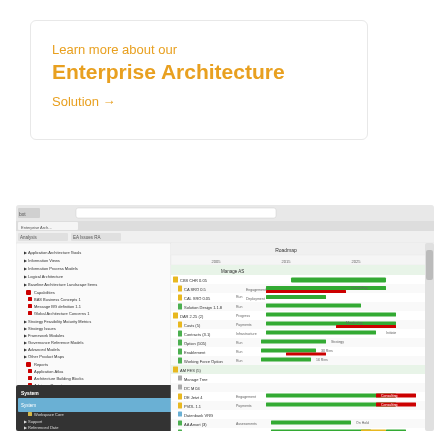Learn more about our
Enterprise Architecture
Solution →
[Figure (screenshot): Browser screenshot showing an Enterprise Architecture roadmap tool with a left-side tree navigation panel listing architecture items and categories, and a right-side Gantt chart view displaying planning timelines with green, red, and yellow bars across multiple rows.]